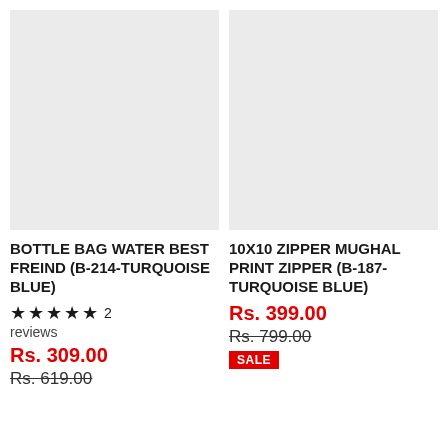[Figure (photo): Product image placeholder for Bottle Bag Water Best Freind (B-214-Turquoise Blue) — gray rectangle]
BOTTLE BAG WATER BEST FREIND (B-214-TURQUOISE BLUE)
★★★★★ 2 reviews
Rs. 309.00
Rs. 619.00
[Figure (photo): Product image placeholder for 10X10 Zipper Mughal Print Zipper (B-187-Turquoise Blue) — gray rectangle]
10X10 ZIPPER MUGHAL PRINT ZIPPER (B-187-TURQUOISE BLUE)
Rs. 399.00
Rs. 799.00
SALE